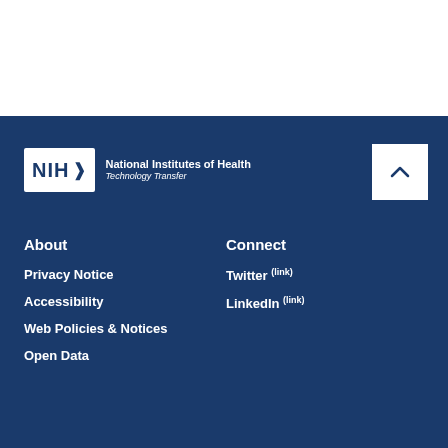[Figure (logo): NIH National Institutes of Health Technology Transfer logo in white on dark blue footer background]
About
Privacy Notice
Accessibility
Web Policies & Notices
Open Data
Connect
Twitter (link)
LinkedIn (link)